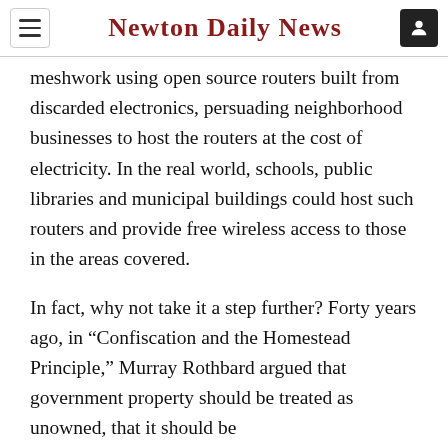Newton Daily News
meshwork using open source routers built from discarded electronics, persuading neighborhood businesses to host the routers at the cost of electricity. In the real world, schools, public libraries and municipal buildings could host such routers and provide free wireless access to those in the areas covered.
In fact, why not take it a step further? Forty years ago, in “Confiscation and the Homestead Principle,” Murray Rothbard argued that government property should be treated as unowned, that it should be